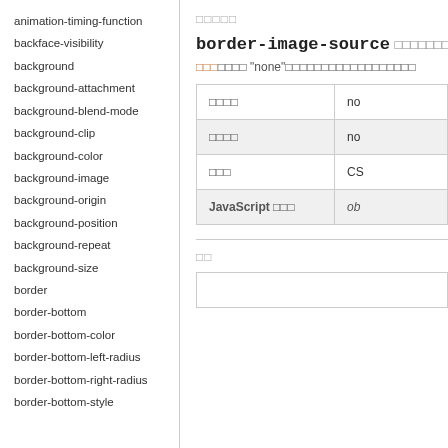animation-timing-function
backface-visibility
background
background-attachment
background-blend-mode
background-clip
background-color
background-image
background-origin
background-position
background-repeat
background-size
border
border-bottom
border-bottom-color
border-bottom-left-radius
border-bottom-right-radius
border-bottom-style
□□□□□
border-image-source □□□□□□□□□□□□ bord
□□□□□□ "none"□□□□□□□□□□□□□□□□□□
| □□□□ | no |
| --- | --- |
| □□□□ | no |
| □□□ | CS |
| JavaScript □□□ | ob |
□□